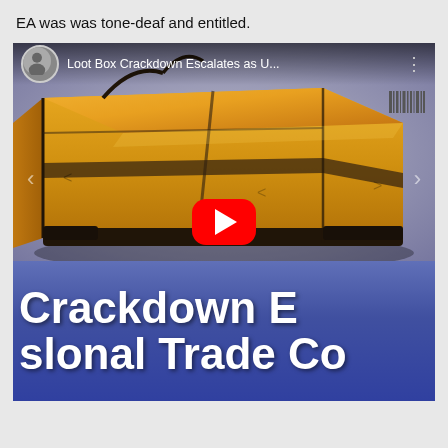EA was was tone-deaf and entitled.
[Figure (screenshot): YouTube video thumbnail showing a golden loot box (Overwatch-style) against a gray background in the upper portion, and a blue lower portion with large white bold text reading 'Crackdown E' on one line and 'slonal Trade Co' below. A YouTube play button (red rounded rectangle with white triangle) is centered. The video title bar at top reads 'Loot Box Crackdown Escalates as U...' with a circular user avatar on the left and three-dots menu on the right.]